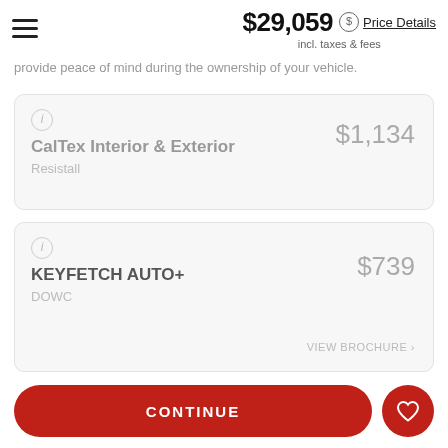$29,059 incl. taxes & fees — Price Details
provide peace of mind during the ownership of your vehicle.
CalTex Interior & Exterior
Resistall
$1,134
KEYFETCH AUTO+
DOWC
$739
VIEW BROCHURE ›
Loading Plans...
CONTINUE